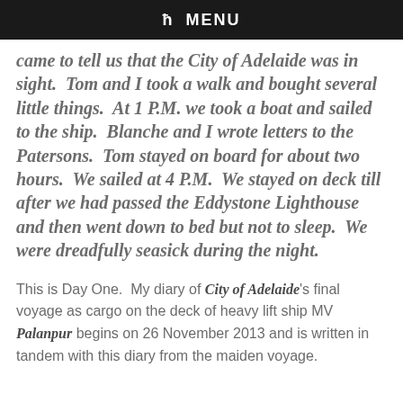ħ MENU
came to tell us that the City of Adelaide was in sight. Tom and I took a walk and bought several little things. At 1 P.M. we took a boat and sailed to the ship. Blanche and I wrote letters to the Patersons. Tom stayed on board for about two hours. We sailed at 4 P.M. We stayed on deck till after we had passed the Eddystone Lighthouse and then went down to bed but not to sleep. We were dreadfully seasick during the night.
This is Day One. My diary of City of Adelaide's final voyage as cargo on the deck of heavy lift ship MV Palanpur begins on 26 November 2013 and is written in tandem with this diary from the maiden voyage.